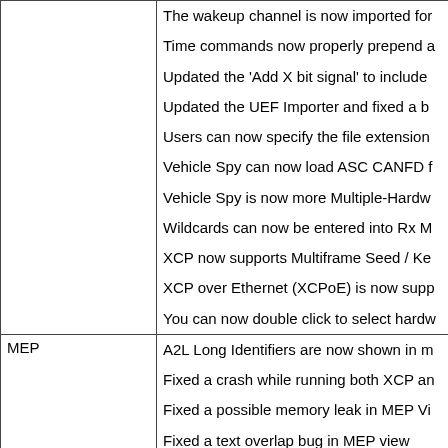| Category | Description |
| --- | --- |
|  | The wakeup channel is now imported for |
|  | Time commands now properly prepend a |
|  | Updated the 'Add X bit signal' to include |
|  | Updated the UEF Importer and fixed a b |
|  | Users can now specify the file extension |
|  | Vehicle Spy can now load ASC CANFD f |
|  | Vehicle Spy is now more Multiple-Hardw |
|  | Wildcards can now be entered into Rx M |
|  | XCP now supports Multiframe Seed / Ke |
|  | XCP over Ethernet (XCPoE) is now supp |
|  | You can now double click to select hardw |
| MEP | A2L Long Identifiers are now shown in m |
|  | Fixed a crash while running both XCP an |
|  | Fixed a possible memory leak in MEP Vi |
|  | Fixed a text overlap bug in MEP view |